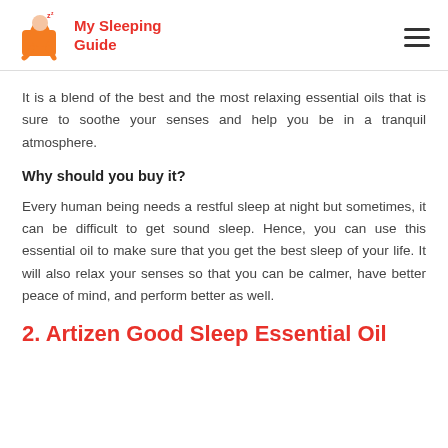My Sleeping Guide
It is a blend of the best and the most relaxing essential oils that is sure to soothe your senses and help you be in a tranquil atmosphere.
Why should you buy it?
Every human being needs a restful sleep at night but sometimes, it can be difficult to get sound sleep. Hence, you can use this essential oil to make sure that you get the best sleep of your life. It will also relax your senses so that you can be calmer, have better peace of mind, and perform better as well.
2. Artizen Good Sleep Essential Oil